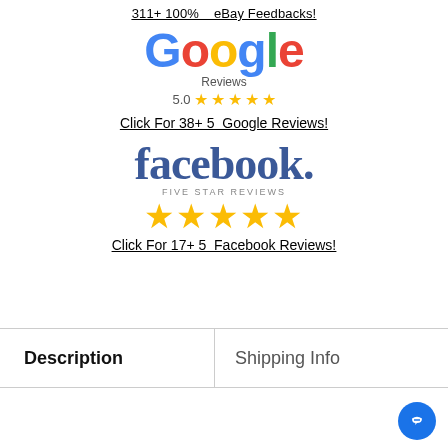311+ 100%    eBay Feedbacks!
[Figure (logo): Google logo with multicolor letters spelling Google, with Reviews label and 5.0 star rating (5 gold stars) below]
Click For 38+ 5   Google Reviews!
[Figure (logo): Facebook logo in dark blue bold serif font with 'FIVE STAR REVIEWS' label and 5 gold star icons below]
Click For 17+ 5   Facebook Reviews!
| Description | Shipping Info |
| --- | --- |